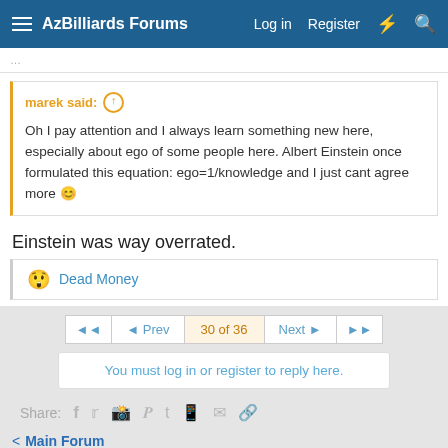AzBilliards Forums  Log in  Register
marek said: ↑
Oh I pay attention and I always learn something new here, especially about ego of some people here. Albert Einstein once formulated this equation: ego=1/knowledge and I just cant agree more 🙂
Einstein was way overrated.
😶 Dead Money
◄  ◄ Prev  30 of 36  Next ►  ►►
You must log in or register to reply here.
Share: f  🐦  r  P  t  ©  ✉  🔗
< Main Forum